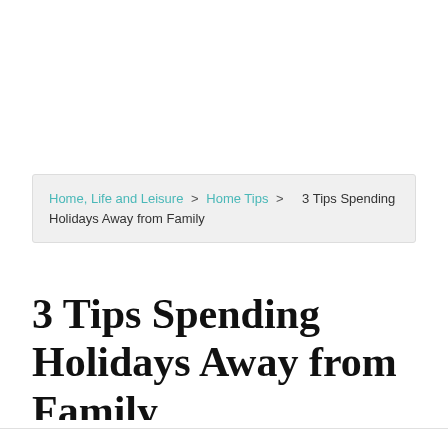Home, Life and Leisure > Home Tips > 3 Tips Spending Holidays Away from Family
3 Tips Spending Holidays Away from Family
We use cookies on our website to give you the most relevant experience by remembering your preferences and repeat visits. By clicking “Accept All”, you consent to the use of ALL the cookies. However, you may visit "Cookie Settings" to provide a controlled consent.